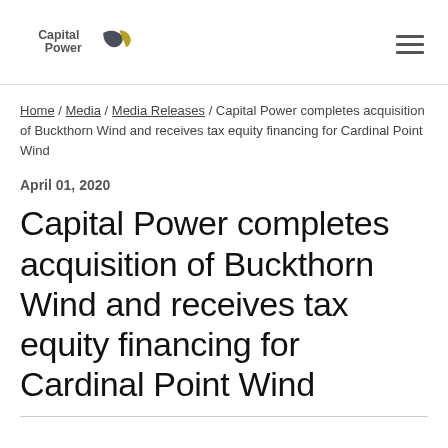Capital Power [logo] [hamburger menu]
Home / Media / Media Releases / Capital Power completes acquisition of Buckthorn Wind and receives tax equity financing for Cardinal Point Wind
April 01, 2020
Capital Power completes acquisition of Buckthorn Wind and receives tax equity financing for Cardinal Point Wind